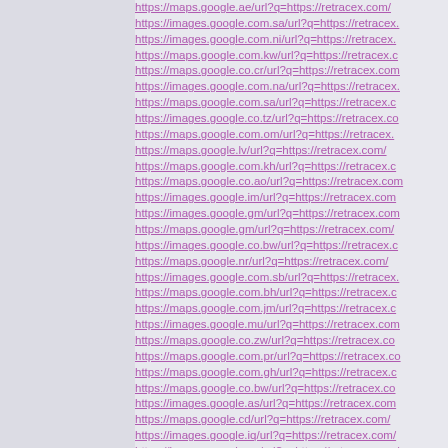https://maps.google.ae/url?q=https://retracex.com/
https://images.google.com.sa/url?q=https://retracex.com/
https://images.google.com.ni/url?q=https://retracex.com/
https://maps.google.com.kw/url?q=https://retracex.com/
https://maps.google.co.cr/url?q=https://retracex.com/
https://images.google.com.na/url?q=https://retracex.com/
https://maps.google.com.sa/url?q=https://retracex.com/
https://images.google.co.tz/url?q=https://retracex.com/
https://maps.google.com.om/url?q=https://retracex.com/
https://maps.google.lv/url?q=https://retracex.com/
https://maps.google.com.kh/url?q=https://retracex.com/
https://maps.google.co.ao/url?q=https://retracex.com/
https://images.google.im/url?q=https://retracex.com/
https://images.google.gm/url?q=https://retracex.com/
https://maps.google.gm/url?q=https://retracex.com/
https://images.google.co.bw/url?q=https://retracex.com/
https://maps.google.nr/url?q=https://retracex.com/
https://images.google.com.sb/url?q=https://retracex.com/
https://maps.google.com.bh/url?q=https://retracex.com/
https://maps.google.com.jm/url?q=https://retracex.com/
https://images.google.mu/url?q=https://retracex.com/
https://maps.google.co.zw/url?q=https://retracex.com/
https://maps.google.com.pr/url?q=https://retracex.com/
https://maps.google.com.gh/url?q=https://retracex.com/
https://maps.google.co.bw/url?q=https://retracex.com/
https://images.google.as/url?q=https://retracex.com/
https://maps.google.cd/url?q=https://retracex.com/
https://images.google.iq/url?q=https://retracex.com/
https://images.google.vg/url?q=https://retracex.com/